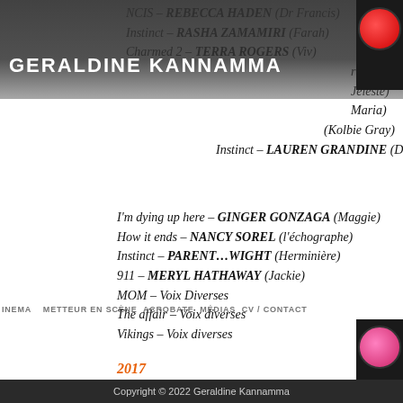GERALDINE KANNAMMA
NCIS – REBECCA HADEN (Dr Francis)
Instinct – RASHA ZAMAMIRI (Farah)
Charmed 2 – TERRA ROGERS (Viv)
(Maria)
(Céleste)
(Maria)
(Kolbie Gray)
Instinct – … (Deirdre)
I'm dying up here – GINGER GONZAGA (Maggie)
How it ends – NANCY SOREL (l'échographe)
Instinct – … PARENTRIGHT (Herminière)
911 – MERYL HATHAWAY (Jackie)
MOM – Voix Diverses
The affair – Voix diverses
Vikings – Voix diverses
2017
Prison Break – INBAR LAVI (Sheba)
Reign – SARA GARCIA (Keira)
Timeless – AMANDA BROOKS (Claire)
Room 104 – POORNA JAGANNATHAN (Divya)
APB – DEMETRIA THOMAS (Sergent Bernie Charles)
Be somebody – CAITLIN KEATS (Karen Lowe)
NCIS Nouvelle-Orléans – COLEY COMPANY (Tessa)
Rosewood – NIKEA GAMBY TURNER (Officier Desouza)
Blue Bloods – RASHA ZAMAMIRI (Aisha Nejari)
The Vault – O'ORIANKA KILCHER (Susan Cromwell)
Copyright © 2022 Geraldine Kannamma